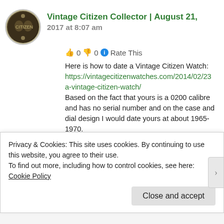Vintage Citizen Collector | August 21, 2017 at 8:07 am
👍 0 👎 0 ℹ Rate This
Here is how to date a Vintage Citizen Watch: https://vintagecitizenwatches.com/2014/02/23 a-vintage-citizen-watch/ Based on the fact that yours is a 0200 calibre and has no serial number and on the case and dial design I would date yours at about 1965-1970.
Privacy & Cookies: This site uses cookies. By continuing to use this website, you agree to their use.
To find out more, including how to control cookies, see here: Cookie Policy
Close and accept